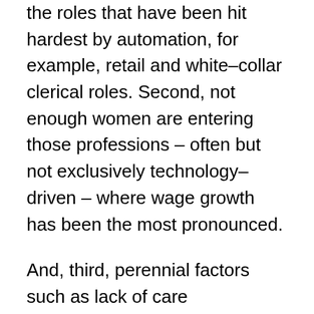the roles that have been hit hardest by automation, for example, retail and white-collar clerical roles. Second, not enough women are entering those professions – often but not exclusively technology-driven – where wage growth has been the most pronounced.
And, third, perennial factors such as lack of care infrastructure and lack of access to capital strongly limit women's workforce opportunities. Women spend at least twice as much time on care and voluntary work in every country where data is available. And a lack of access to capital still prevents women from pursuing entrepreneurial activity, which is another key driver of income.